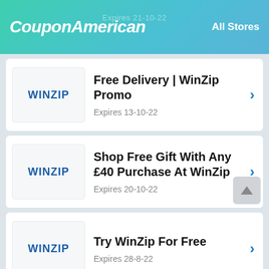CouponAmerican   All Stores
Free Delivery | WinZip Promo
Expires 13-10-22
Shop Free Gift With Any £40 Purchase At WinZip
Expires 20-10-22
Try WinZip For Free
Expires 28-8-22